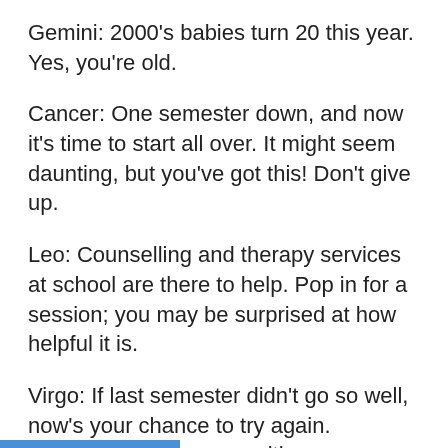Gemini: 2000's babies turn 20 this year. Yes, you're old.
Cancer: One semester down, and now it's time to start all over. It might seem daunting, but you've got this! Don't give up.
Leo: Counselling and therapy services at school are there to help. Pop in for a session; you may be surprised at how helpful it is.
Virgo: If last semester didn't go so well, now's your chance to try again. Remember to keep up with your assignments and readings… starting tomorrow.
Libra: Remember to recycle all those cans and bottles from your Great Gatsby-themed New Years